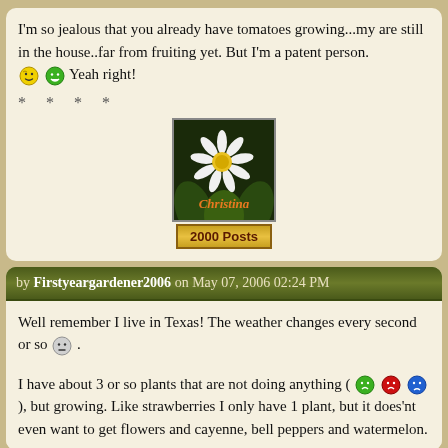I'm so jealous that you already have tomatoes growing...my are still in the house..far from fruiting yet. But I'm a patent person. 😊 😁 Yeah right!
[Figure (photo): Avatar image of a daisy flower with the name Christina written in orange script, with a 2000 Posts badge below]
by Firstyeargardener2006 on May 07, 2006 02:24 PM
Well remember I live in Texas! The weather changes every second or so 😐 .
I have about 3 or so plants that are not doing anything ( 😠 😡 😢 ), but growing. Like strawberries I only have 1 plant, but it does'nt even want to get flowers and cayenne, bell peppers and watermelon.